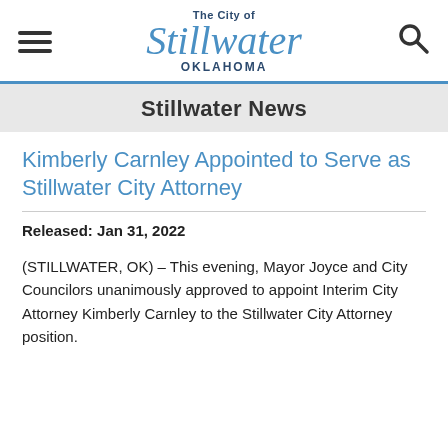The City of Stillwater OKLAHOMA
Stillwater News
Kimberly Carnley Appointed to Serve as Stillwater City Attorney
Released: Jan 31, 2022
(STILLWATER, OK) – This evening, Mayor Joyce and City Councilors unanimously approved to appoint Interim City Attorney Kimberly Carnley to the Stillwater City Attorney position.